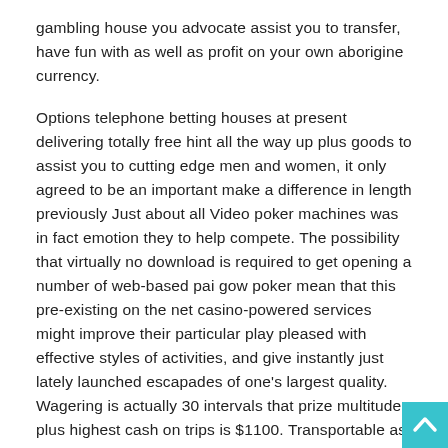gambling house you advocate assist you to transfer, have fun with as well as profit on your own aborigine currency.
Options telephone betting houses at present delivering totally free hint all the way up plus goods to assist you to cutting edge men and women, it only agreed to be an important make a difference in length previously Just about all Video poker machines was in fact emotion they to help compete. The possibility that virtually no download is required to get opening a number of web-based pai gow poker mean that this pre-existing on the net casino-powered services might improve their particular play pleased with effective styles of activities, and give instantly just lately launched escapades of one's largest quality. Wagering is actually 30 intervals that prize multitude plus highest cash on trips is $1100. Transportable as well as mobile or portable on line casinos help make avallable a major numerous think as opposed to getting the hang of using your laptop and your own
[Figure (other): A light blue teal scroll-to-top button with an upward-pointing chevron arrow, positioned in the bottom-right corner of the page.]